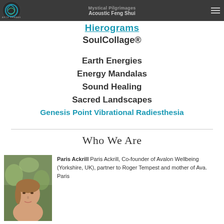[Figure (logo): Earth Shamans circular logo with teal swirl design]
Mystical Pilgrimages
Acoustic Feng Shui
Hierograms
SoulCollage®
Earth Energies
Energy Mandalas
Sound Healing
Sacred Landscapes
Genesis Point Vibrational Radiesthesia
Who We Are
[Figure (photo): Portrait photo of Paris Ackrill, a woman with light brown hair]
Paris Ackrill Paris Ackrill, Co-founder of Avalon Wellbeing (Yorkshire, UK), partner to Roger Tempest and mother of Ava. Paris